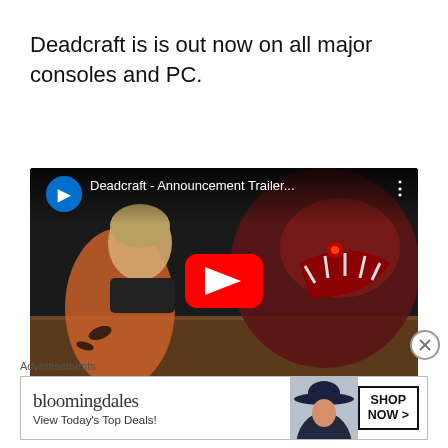Deadcraft is is out now on all major consoles and PC.
[Figure (screenshot): YouTube video thumbnail for 'Deadcraft - Announcement Trailer...' showing a PlayStation logo, video title, three-dot menu, a character facing a monster, and a red YouTube play button in the center.]
Advertisements
[Figure (screenshot): Bloomingdale's advertisement banner reading 'bloomingdales View Today's Top Deals!' with a woman in a blue hat and 'SHOP NOW >' button.]